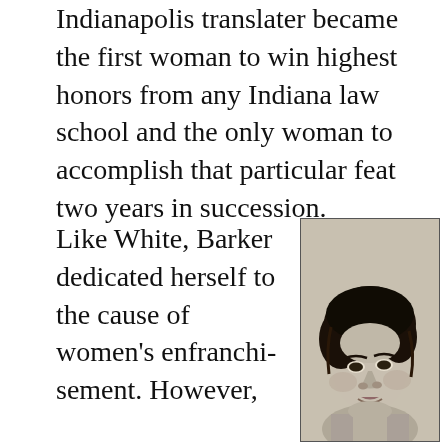Indianapolis translater became the first woman to win highest honors from any Indiana law school and the only woman to accomplish that particular feat two years in succession.
Like White, Barker dedicated herself to the cause of women's enfranchisement. However,
[Figure (photo): Black and white portrait photograph of a woman with dark curly hair styled up, facing slightly to the right]